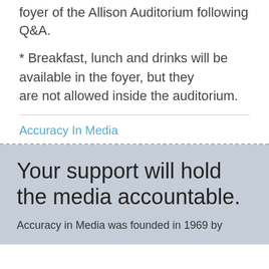foyer of the Allison Auditorium following Q&A.
* Breakfast, lunch and drinks will be available in the foyer, but they are not allowed inside the auditorium.
Accuracy In Media
Your support will hold the media accountable.
Accuracy in Media was founded in 1969 by